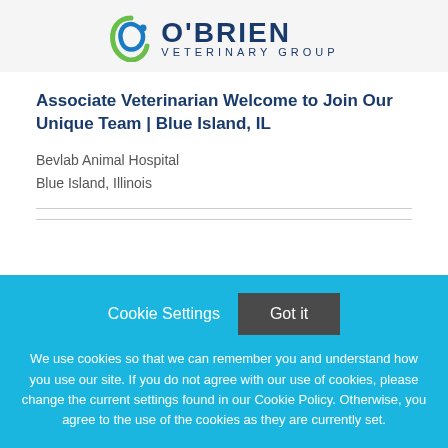[Figure (logo): O'Brien Veterinary Group logo with circular green/blue swoosh icon and dark blue text]
Associate Veterinarian Welcome to Join Our Unique Team | Blue Island, IL
Bevlab Animal Hospital
Blue Island, Illinois
Cookie Settings  Got it
We use cookies so that we can remember you and understand how you use our site. If you do not agree with our use of cookies, please change the current settings found in our Cookie Policy. Otherwise, you agree to the use of the cookies as they are currently set.